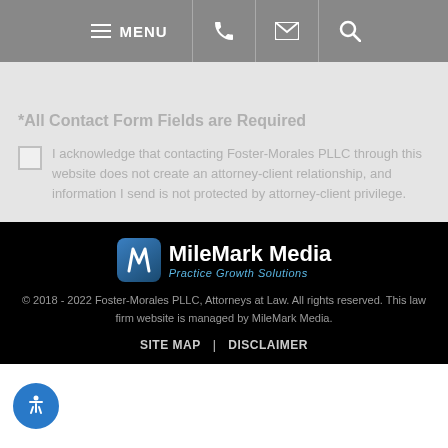MENU [navigation bar with phone, email, search icons]
*All Contact Form Fields are Required
I acknowledge that contacting Foster-Morales PLLC through this website does not create an attorney-client relationship, and information I send is not protected by attorney-client privilege.
[Figure (logo): MileMark Media - Practice Growth Solutions logo with blue M icon]
© 2018 - 2022 Foster-Morales PLLC, Attorneys at Law. All rights reserved. This law firm website is managed by MileMark Media. SITE MAP | DISCLAIMER